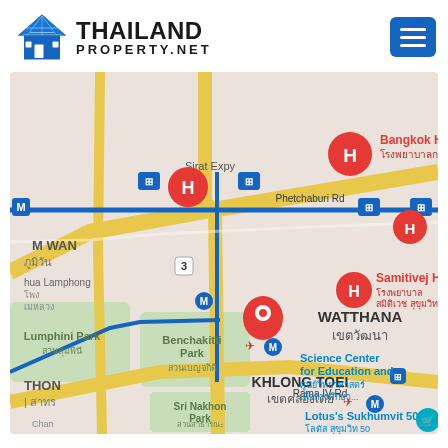[Figure (logo): Thailand Property .NET logo with house icon and hamburger menu button]
[Figure (map): Google Maps view of Bangkok, Thailand showing Khlong Toei, Watthana districts with Benchakitti Park, Lumphini Park, Samitivej Hospital, Bangkok Hospital, Science Center for Education, Sri Nakhon Park, Lotus's Sukhumvit 50, Phetchaburi Rd, Sirat Expy, Rama IV Rd and a red location pin marker in the Sukhumvit area]